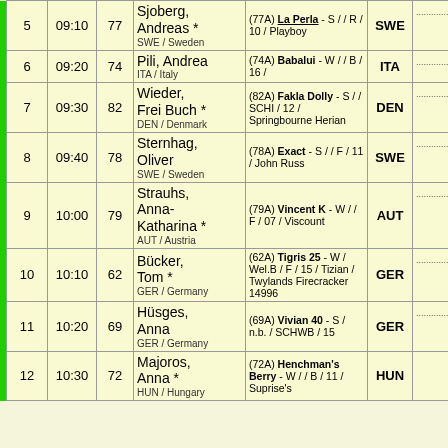| # | Time | Score | Rider | Horse | NAT |  |
| --- | --- | --- | --- | --- | --- | --- |
| 5 | 09:10 | 77 | Sjoberg, Andreas *
SWE / Sweden | (77A) La Perla - S / / R / 10 / Playboy | SWE |  |
| 6 | 09:20 | 74 | Pili, Andrea
ITA / Italy | (74A) Babalui - W / / B / 16 / | ITA |  |
| 7 | 09:30 | 82 | Wieder, Frei Buch *
DEN / Denmark | (82A) Fakla Dolly - S / / SCHI / 12 / Springbourne Herian | DEN |  |
| 8 | 09:40 | 78 | Sternhag, Oliver
SWE / Sweden | (78A) Exact - S / / F / 11 / John Russ | SWE |  |
| 9 | 10:00 | 79 | Strauhs, Anna-Katharina *
AUT / Austria | (79A) Vincent K - W / / F / 07 / Viscount | AUT |  |
| 10 | 10:10 | 62 | Bücker, Tom *
GER / Germany | (62A) Tigris 25 - W / Wel.B / F / 15 / Tizian / Twylands Firecracker 14996 | GER |  |
| 11 | 10:20 | 69 | Hüsges, Anna
GER / Germany | (69A) Vivian 40 - S / n.b. / SCHWB / 15 | GER |  |
| 12 | 10:30 | 72 | Majoros, Anna *
HUN / Hungary | (72A) Henchman's Berry - W / / B / 11 / Suprise's ... | HUN |  |